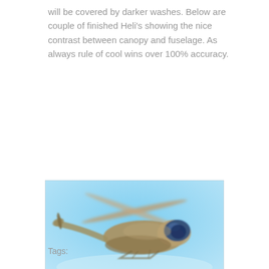will be covered by darker washes. Below are couple of finished Heli's showing the nice contrast between canopy and fuselage. As always rule of cool wins over 100% accuracy.
[Figure (photo): A photograph of a model helicopter (predominantly tan/olive fuselage with a dark blue canopy) flying against a light blue sky background.]
Tags: